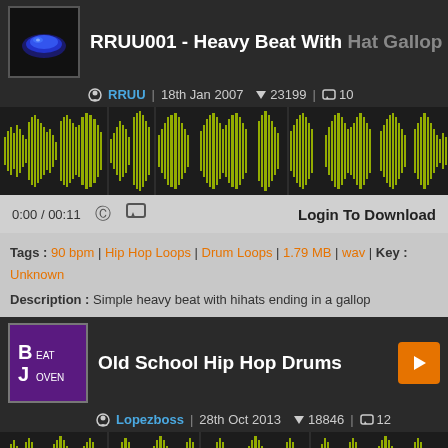RRUU001 - Heavy Beat With Hat Gallop
RRUU | 18th Jan 2007 | 23199 | 10
[Figure (other): Audio waveform visualization of RRUU001 beat, yellow-green waveform on dark background]
0:00 / 00:11 | Login To Download
Tags : 90 bpm | Hip Hop Loops | Drum Loops | 1.79 MB | wav | Key : Unknown
Description : Simple heavy beat with hihats ending in a gallop
Old School Hip Hop Drums
Lopezboss | 28th Oct 2013 | 18846 | 12
[Figure (other): Audio waveform visualization of Old School Hip Hop Drums, yellow-green waveform on dark background]